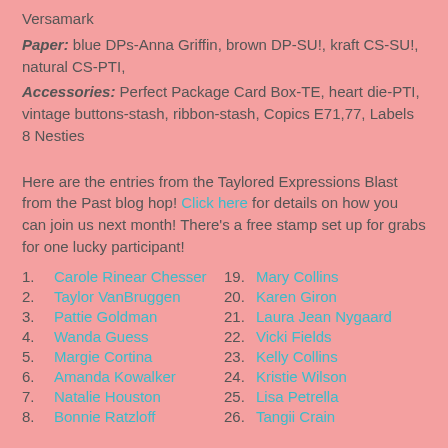Versamark
Paper: blue DPs-Anna Griffin, brown DP-SU!, kraft CS-SU!, natural CS-PTI,
Accessories: Perfect Package Card Box-TE, heart die-PTI, vintage buttons-stash, ribbon-stash, Copics E71,77, Labels 8 Nesties
Here are the entries from the Taylored Expressions Blast from the Past blog hop! Click here for details on how you can join us next month! There's a free stamp set up for grabs for one lucky participant!
1. Carole Rinear Chesser
2. Taylor VanBruggen
3. Pattie Goldman
4. Wanda Guess
5. Margie Cortina
6. Amanda Kowalker
7. Natalie Houston
8. Bonnie Ratzloff
19. Mary Collins
20. Karen Giron
21. Laura Jean Nygaard
22. Vicki Fields
23. Kelly Collins
24. Kristie Wilson
25. Lisa Petrella
26. Tangii Crain